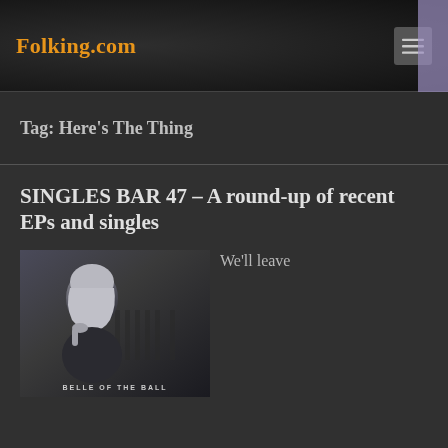Folking.com
Tag: Here's The Thing
SINGLES BAR 47 – A round-up of recent EPs and singles
[Figure (photo): Album cover photo showing a young woman with blonde hair resting her chin on her hand, in black and white style, with text 'BELLE OF THE BALL' at the bottom]
We'll leave